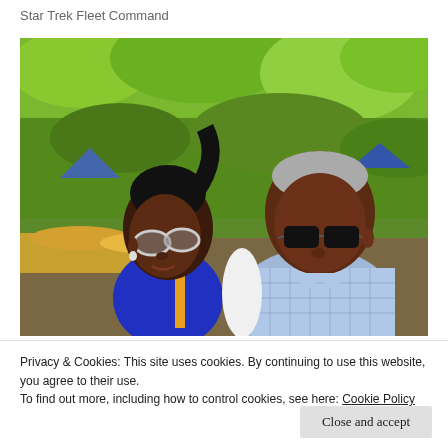Star Trek Fleet Command
[Figure (photo): Two people wearing sunglasses outdoors with green lush landscape in the background. A woman on the left wearing a blue top with silver-framed sunglasses, and a man on the right wearing a light blue checked shirt with dark sunglasses. Colorful tents visible in background.]
Privacy & Cookies: This site uses cookies. By continuing to use this website, you agree to their use.
To find out more, including how to control cookies, see here: Cookie Policy
Close and accept